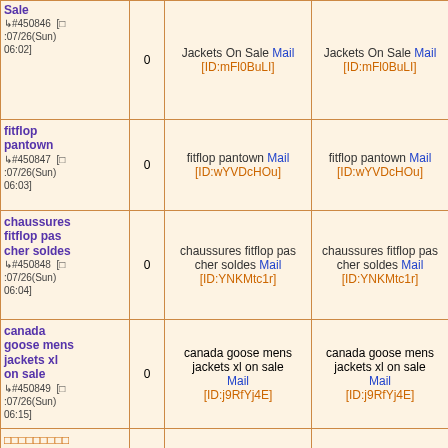| Topic | Replies | Last Post (body) | Last Post (thread) | Date |
| --- | --- | --- | --- | --- |
| Jackets On Sale ↳#450846 [□:07/26(Sun)06:02] | 0 | Jackets On Sale Mail [ID:mFl0BuLI] | Jackets On Sale Mail [ID:mFl0BuLI] | 06:02 |
| fitflop pantown ↳#450847 [□:07/26(Sun)06:03] | 0 | fitflop pantown Mail [ID:wYVDcHOu] | fitflop pantown Mail [ID:wYVDcHOu] | 07/26(Sun) 06:03 |
| chaussures fitflop pas cher soldes ↳#450848 [□:07/26(Sun)06:04] | 0 | chaussures fitflop pas cher soldes Mail [ID:YNKMtc1r] | chaussures fitflop pas cher soldes Mail [ID:YNKMtc1r] | 07/26(Sun) 06:04 |
| canada goose mens jackets xl on sale ↳#450849 [□:07/26(Sun)06:15] | 0 | canada goose mens jackets xl on sale Mail [ID:j9RfYj4E] | canada goose mens jackets xl on sale Mail [ID:j9RfYj4E] | 07/26(Sun) 06:15 |
| □□□□□□□□□ ↳#450850 [□:07/26(Sun)06:16] | 0 | □□□□□□□□□ Mail [ID:NQRHspTz] | □□□□□□□□□ Mail [ID:NQRHspTz] | 07/26(Sun) 06:16 |
| men's pbi expedition ↳#450851 [□:07/26(Sun)] | 0 | men's pbi expedition parka price Mail | men's pbi expedition parka price Mail | 07/26(Sun) |